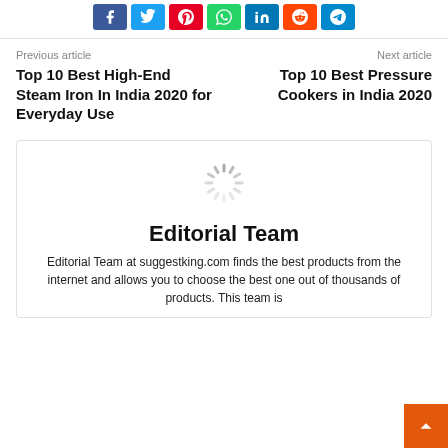[Figure (infographic): Row of social media share buttons: Facebook (blue), Twitter (cyan), Pinterest (red), WhatsApp (green), LinkedIn (blue), Reddit (orange-red), Telegram (blue)]
Previous article
Next article
Top 10 Best High-End Steam Iron In India 2020 for Everyday Use
Top 10 Best Pressure Cookers in India 2020
[Figure (infographic): Loading spinner / circular progress indicator (grey dashes in circle)]
Editorial Team
Editorial Team at suggestking.com finds the best products from the internet and allows you to choose the best one out of thousands of products. This team is